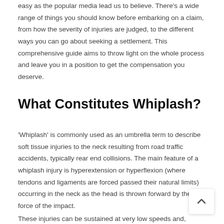easy as the popular media lead us to believe. There's a wide range of things you should know before embarking on a claim, from how the severity of injuries are judged, to the different ways you can go about seeking a settlement. This comprehensive guide aims to throw light on the whole process and leave you in a position to get the compensation you deserve.
What Constitutes Whiplash?
'Whiplash' is commonly used as an umbrella term to describe soft tissue injuries to the neck resulting from road traffic accidents, typically rear end collisions. The main feature of a whiplash injury is hyperextension or hyperflexion (where tendons and ligaments are forced passed their natural limits) occurring in the neck as the head is thrown forward by the force of the impact.
These injuries can be sustained at very low speeds and,